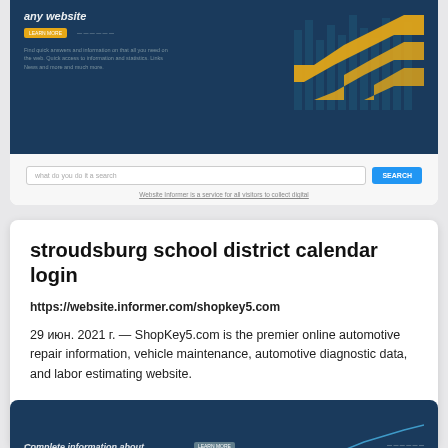[Figure (screenshot): Screenshot of a dark-themed website with orange/yellow stepped chart graphic, navigation bar, and body text. Below is a search input with blue search button and a greyed hint text link.]
stroudsburg school district calendar login
https://website.informer.com/shopkey5.com
29 июн. 2021 г. — ShopKey5.com is the premier online automotive repair information, vehicle maintenance, automotive diagnostic data, and labor estimating website.
[Figure (screenshot): Partial screenshot of a dark-themed website with navigation bar and partial heading text 'Complete information about...']